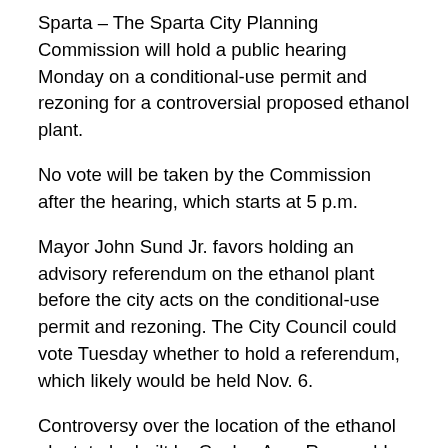Sparta – The Sparta City Planning Commission will hold a public hearing Monday on a conditional-use permit and rezoning for a controversial proposed ethanol plant.
No vote will be taken by the Commission after the hearing, which starts at 5 p.m.
Mayor John Sund Jr. favors holding an advisory referendum on the ethanol plant before the city acts on the conditional-use permit and rezoning. The City Council could vote Tuesday whether to hold a referendum, which likely would be held Nov. 6.
Controversy over the location of the ethanol plant, to be built by Coulee Area Renewable Energy LLC (CARE), has gone on for months.
Officials of Century Foods International, the largest employer